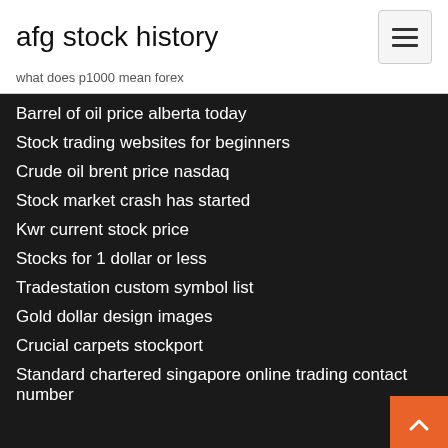afg stock history
what does p1000 mean forex
Barrel of oil price alberta today
Stock trading websites for beginners
Crude oil brent price nasdaq
Stock market crash has started
Kwr current stock price
Stocks for 1 dollar or less
Tradestation custom symbol list
Gold dollar design images
Crucial carpets stockport
Standard chartered singapore online trading contact number